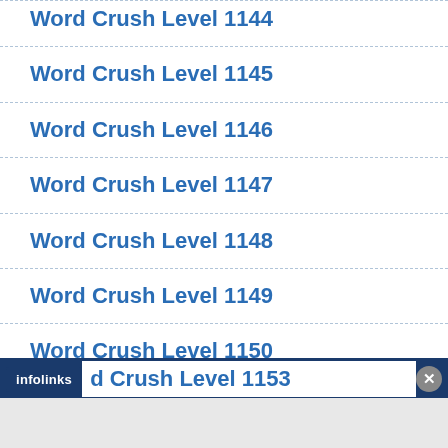Word Crush Level 1144
Word Crush Level 1145
Word Crush Level 1146
Word Crush Level 1147
Word Crush Level 1148
Word Crush Level 1149
Word Crush Level 1150
Word Crush Level 1151
Word Crush Level 1152
Word Crush Level 1153